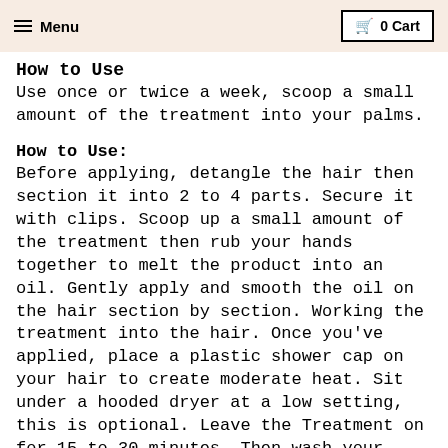Menu  0 Cart
How to Use
Use once or twice a week, scoop a small amount of the treatment into your palms.
How to Use:
Before applying, detangle the hair then section it into 2 to 4 parts. Secure it with clips. Scoop up a small amount of the treatment then rub your hands together to melt the product into an oil. Gently apply and smooth the oil on the hair section by section. Working the treatment into the hair. Once you've applied, place a plastic shower cap on your hair to create moderate heat. Sit under a hooded dryer at a low setting, this is optional. Leave the Treatment on for 15 to 30 minutes. Then wash your hair, as usual with warm water, you may need to shampoo twice.